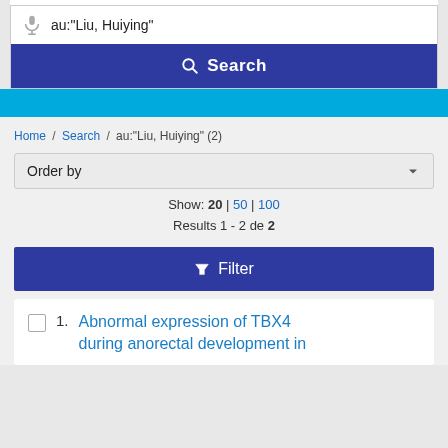au:"Liu, Huiying"
Search
Home / Search / au:"Liu, Huiying" (2)
Order by
Show: 20 | 50 | 100
Results 1 - 2 de 2
Filter
1. Abnormal expression of TBX4 during anorectal development in